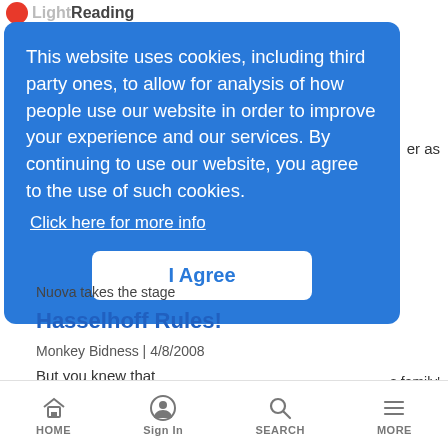Light Reading
er as
This website uses cookies, including third party ones, to allow for analysis of how people use our website in order to improve your experience and our services. By continuing to use our website, you agree to the use of such cookies. Click here for more info
I Agree
s family'
Nuova takes the stage
Hasselhoff Rules!
Monkey Bidness | 4/8/2008
But you knew that
HOME  Sign In  SEARCH  MORE